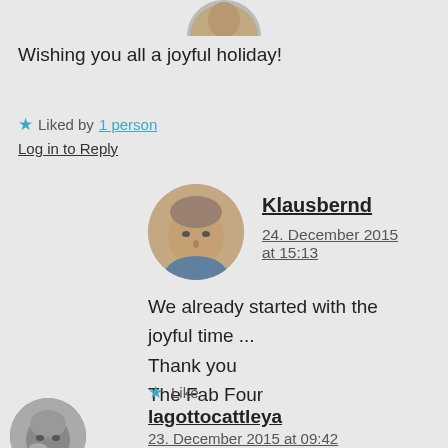[Figure (photo): Partial circular avatar photo at top of page, cropped]
Wishing you all a joyful holiday!
★ Liked by 1 person
Log in to Reply
[Figure (photo): Circular avatar photo of Klausbernd, older man with short hair]
Klausbernd
24. December 2015 at 15:13
We already started with the joyful time ...
Thank you
The Fab Four
★ Like
[Figure (photo): Circular avatar photo of lagottocattleya, black and white]
lagottocattleya
23. December 2015 at 09:42